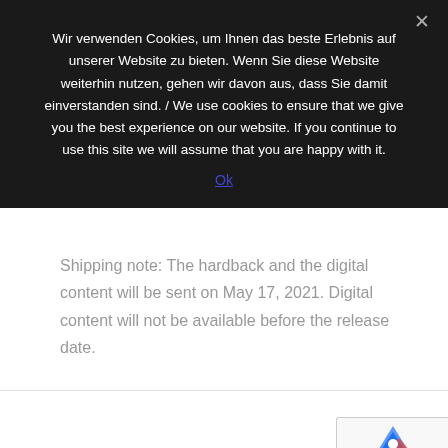Wir verwenden Cookies, um Ihnen das beste Erlebnis auf unserer Website zu bieten. Wenn Sie diese Website weiterhin nutzen, gehen wir davon aus, dass Sie damit einverstanden sind. / We use cookies to ensure that we give you the best experience on our website. If you continue to use this site we will assume that you are happy with it.
Ok
Shipping note: The hardback and the digital content will be sent on May 17, 2021. Digital content will not be available before the release date.
[Figure (other): reCAPTCHA badge and scroll-to-top button in bottom right corner. Shows Google reCAPTCHA logo (blue/red arrow icon) with Privacy and Terms links below, alongside a dark scroll-up button with a caret/chevron pointing upward.]